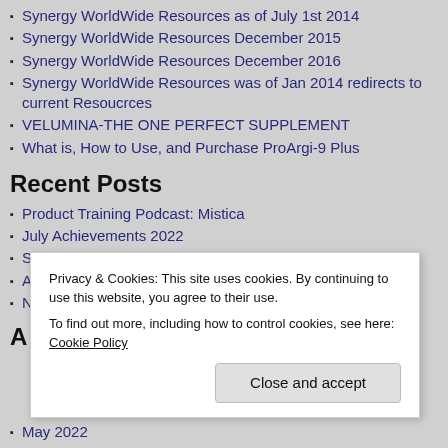Synergy WorldWide Resources as of July 1st 2014
Synergy WorldWide Resources December 2015
Synergy WorldWide Resources December 2016
Synergy WorldWide Resources was of Jan 2014 redirects to current Resoucrces
VELUMINA-THE ONE PERFECT SUPPLEMENT
What is, How to Use, and Purchase ProArgi-9 Plus
Recent Posts
Product Training Podcast: Mistica
July Achievements 2022
Solar Powered Super Fruits
August Calendar is Now Available
New Elemence Sample Card
Privacy & Cookies: This site uses cookies. By continuing to use this website, you agree to their use.
To find out more, including how to control cookies, see here: Cookie Policy
May 2022